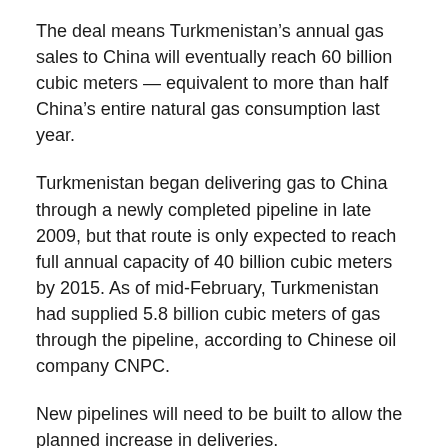The deal means Turkmenistan's annual gas sales to China will eventually reach 60 billion cubic meters — equivalent to more than half China's entire natural gas consumption last year.
Turkmenistan began delivering gas to China through a newly completed pipeline in late 2009, but that route is only expected to reach full annual capacity of 40 billion cubic meters by 2015. As of mid-February, Turkmenistan had supplied 5.8 billion cubic meters of gas through the pipeline, according to Chinese oil company CNPC.
New pipelines will need to be built to allow the planned increase in deliveries.
Turkmen President Gurbanguli Berdymukhamedov is set to visit China later this year to formalize the deal.